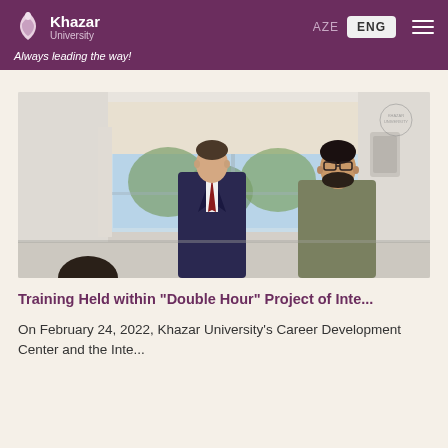Khazar University — Always leading the way!
[Figure (photo): Two men standing in a room with large windows and a roller blind. One man in a suit and tie is speaking, the other stands nearby in a casual jacket.]
Training Held within "Double Hour" Project of Inte...
On February 24, 2022, Khazar University's Career Development Center and the Inte...